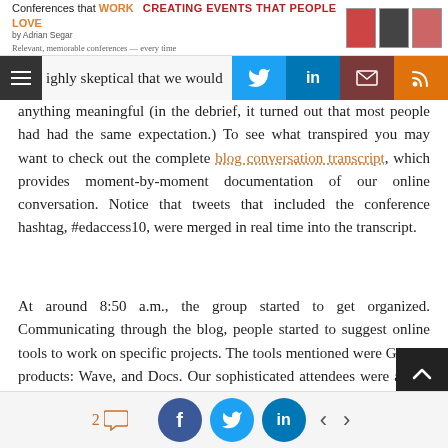Conferences that WORK · CREATING EVENTS THAT PEOPLE LOVE by Adrian Segar · Relevant, memorable conferences — every time
highly skeptical that we would anything meaningful (in the debrief, it turned out that most people had had the same expectation.) To see what transpired you may want to check out the complete blog conversation transcript, which provides moment-by-moment documentation of our online conversation. Notice that tweets that included the conference hashtag, #edaccess10, were merged in real time into the transcript.
At around 8:50 a.m., the group started to get organized. Communicating through the blog, people started to suggest online tools to work on specific projects. The tools mentioned were Google products: Wave, and Docs. Our sophisticated attendees were aware that Docs had been upgraded in April to
2 comments · Share on Facebook · Share on Twitter · Share on LinkedIn